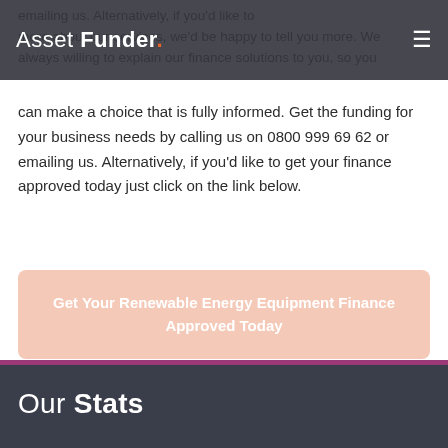Asset Funder
can make a choice that is fully informed. Get the funding for your business needs by calling us on 0800 999 69 62 or emailing us. Alternatively, if you'd like to get your finance approved today just click on the link below.
Get Your Renewable Energy Equipment Finance Approved Today
Our Stats